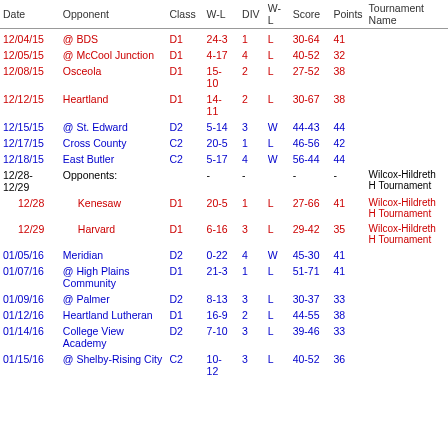| Date | Opponent | Class | W-L | DIV | W-L | Score | Points | Tournament Name |
| --- | --- | --- | --- | --- | --- | --- | --- | --- |
| 12/04/15 | @ BDS | D1 | 24-3 | 1 | L | 30-64 | 41 |  |
| 12/05/15 | @ McCool Junction | D1 | 4-17 | 4 | L | 40-52 | 32 |  |
| 12/08/15 | Osceola | D1 | 15-10 | 2 | L | 27-52 | 38 |  |
| 12/12/15 | Heartland | D1 | 14-11 | 2 | L | 30-67 | 38 |  |
| 12/15/15 | @ St. Edward | D2 | 5-14 | 3 | W | 44-43 | 44 |  |
| 12/17/15 | Cross County | C2 | 20-5 | 1 | L | 46-56 | 42 |  |
| 12/18/15 | East Butler | C2 | 5-17 | 4 | W | 56-44 | 44 |  |
| 12/28-12/29 | Opponents: | - | - | - | - |  |  | Wilcox-Hildreth H Tournament |
| 12/28 | Kenesaw | D1 | 20-5 | 1 | L | 27-66 | 41 | Wilcox-Hildreth H Tournament |
| 12/29 | Harvard | D1 | 6-16 | 3 | L | 29-42 | 35 | Wilcox-Hildreth H Tournament |
| 01/05/16 | Meridian | D2 | 0-22 | 4 | W | 45-30 | 41 |  |
| 01/07/16 | @ High Plains Community | D1 | 21-3 | 1 | L | 51-71 | 41 |  |
| 01/09/16 | @ Palmer | D2 | 8-13 | 3 | L | 30-37 | 33 |  |
| 01/12/16 | Heartland Lutheran | D1 | 16-9 | 2 | L | 44-55 | 38 |  |
| 01/14/16 | College View Academy | D2 | 7-10 | 3 | L | 39-46 | 33 |  |
| 01/15/16 | @ Shelby-Rising City | C2 | 10-12 | 3 | L | 40-52 | 36 |  |